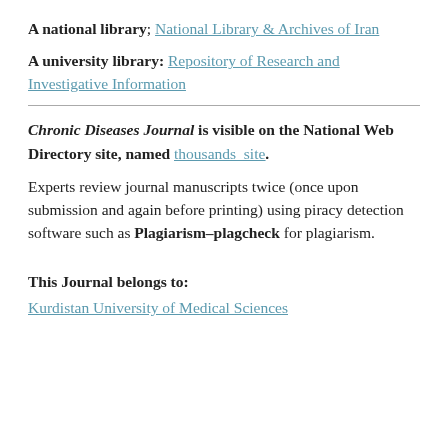A national library; National Library & Archives of Iran
A university library: Repository of Research and Investigative Information
Chronic Diseases Journal is visible on the National Web Directory site, named thousands_site.
Experts review journal manuscripts twice (once upon submission and again before printing) using piracy detection software such as Plagiarism–plagcheck for plagiarism.
This Journal belongs to:
Kurdistan University of Medical Sciences